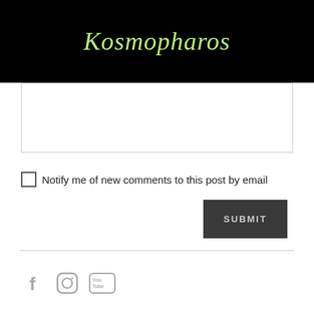Kosmopharos
[Comment text area]
Notify me of new comments to this post by email
SUBMIT
[Social media icons: Facebook, Instagram, YouTube]